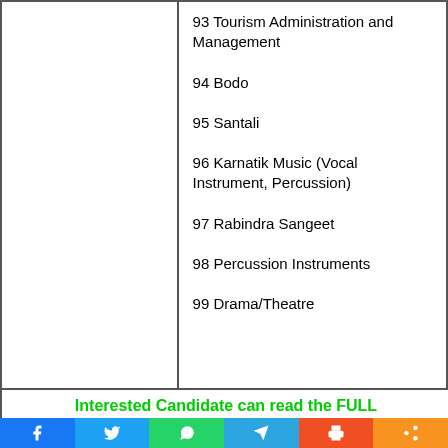93 Tourism Administration and Management
94 Bodo
95 Santali
96 Karnatik Music (Vocal Instrument, Percussion)
97 Rabindra Sangeet
98 Percussion Instruments
99 Drama/Theatre
Interested Candidate can read the FULL